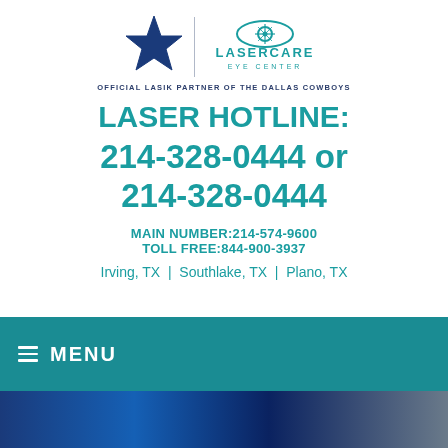[Figure (logo): Dallas Cowboys star logo and LaserCare Eye Center logo side by side with divider line, and text 'OFFICIAL LASIK PARTNER OF THE DALLAS COWBOYS']
LASER HOTLINE:
214-328-0444 or 214-328-0444
MAIN NUMBER:214-574-9600
TOLL FREE:844-900-3937
Irving, TX  |  Southlake, TX  |  Plano, TX
≡ MENU